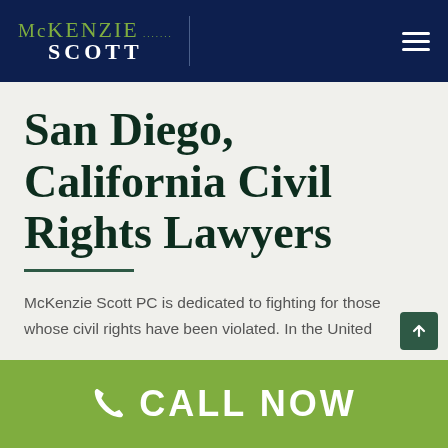McKENZIE SCOTT
San Diego, California Civil Rights Lawyers
McKenzie Scott PC is dedicated to fighting for those whose civil rights have been violated. In the United
CALL NOW